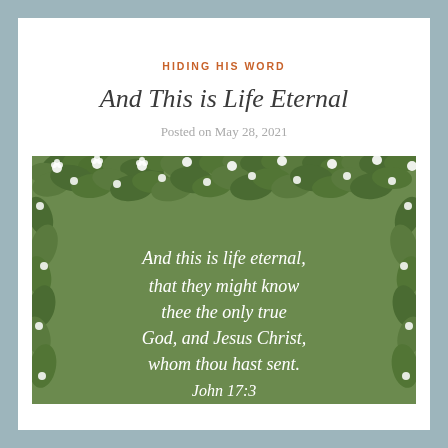HIDING HIS WORD
And This is Life Eternal
Posted on May 28, 2021
[Figure (illustration): Green botanical background with white flowers and foliage border, containing white serif text reading: 'And this is life eternal, that they might know thee the only true God, and Jesus Christ, whom thou hast sent. John 17:3']